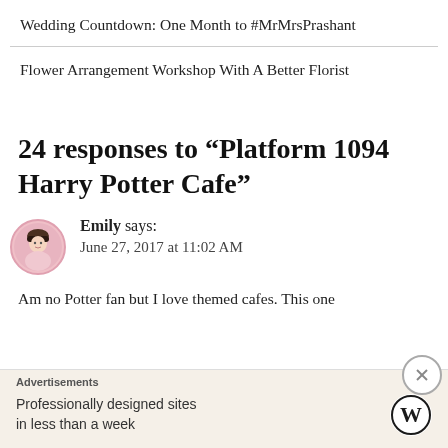Wedding Countdown: One Month to #MrMrsPrashant
Flower Arrangement Workshop With A Better Florist
24 responses to “Platform 1094 Harry Potter Cafe”
Emily says:
June 27, 2017 at 11:02 AM
Am no Potter fan but I love themed cafes. This one
Advertisements
Professionally designed sites in less than a week